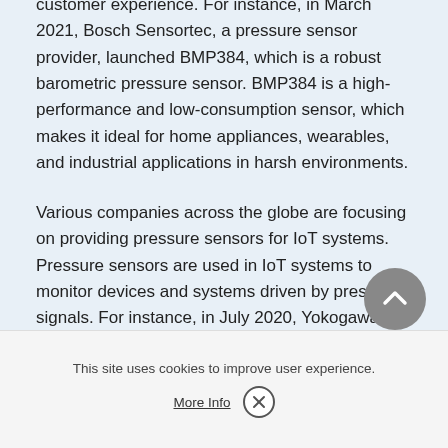customer experience. For instance, in March 2021, Bosch Sensortec, a pressure sensor provider, launched BMP384, which is a robust barometric pressure sensor. BMP384 is a high-performance and low-consumption sensor, which makes it ideal for home appliances, wearables, and industrial applications in harsh environments.
Various companies across the globe are focusing on providing pressure sensors for IoT systems. Pressure sensors are used in IoT systems to monitor devices and systems driven by pressure signals. For instance, in July 2020, Yokogawa Electric Corporation, electrical engineering, and software company announced the introduction of new temperature and pressure sensors for the Sushi Sensor wireless industrial IoT solutions in North America, Europe, and specific Southeast Asian mar... These sensors offered equip... based on wider plant data a... signs of equipment abnormalities at an early stage.